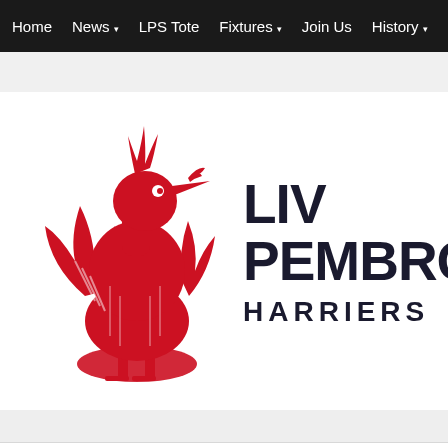Home | News ▾ | LPS Tote | Fixtures ▾ | Join Us | History ▾ | Site
[Figure (logo): Liverpool Pembroke Sefton Harriers running club logo featuring a red Liver Bird and bold dark text reading LIV PEMBRO HARRIERS]
Home | News ▾ | LPS Tote | Fixtures ▾ | Join Us | History ▾ | S
You are here: Home > Grimsh
SEARCH BY DATE
Tag Archives | Grimsha